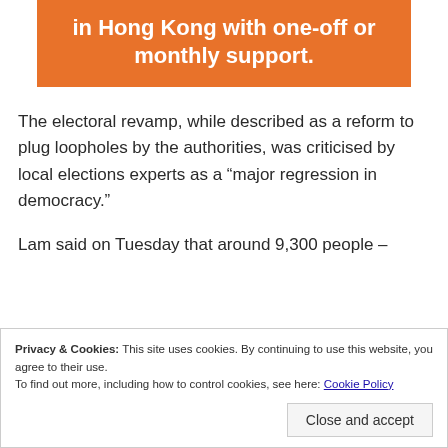[Figure (other): Orange banner with white bold text reading 'in Hong Kong with one-off or monthly support.']
The electoral revamp, while described as a reform to plug loopholes by the authorities, was criticised by local elections experts as a “major regression in democracy.”
Lam said on Tuesday that around 9,300 people –
Privacy & Cookies: This site uses cookies. By continuing to use this website, you agree to their use.
To find out more, including how to control cookies, see here: Cookie Policy
Close and accept